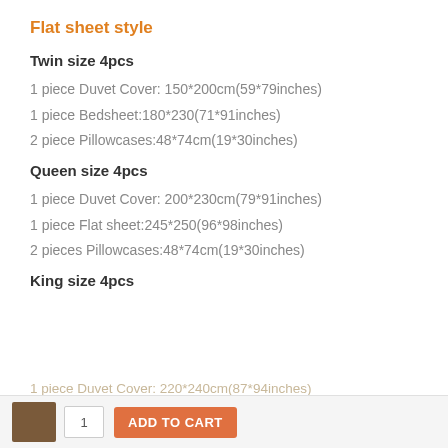Flat sheet style
Twin size 4pcs
1 piece Duvet Cover: 150*200cm(59*79inches)
1 piece Bedsheet:180*230(71*91inches)
2 piece Pillowcases:48*74cm(19*30inches)
Queen size 4pcs
1 piece Duvet Cover: 200*230cm(79*91inches)
1 piece Flat sheet:245*250(96*98inches)
2 pieces Pillowcases:48*74cm(19*30inches)
King size 4pcs
1 piece Duvet Cover: 220*240cm(87*94inches)